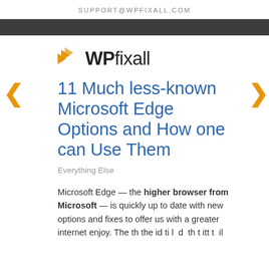SUPPORT@WPFIXALL.COM
[Figure (logo): WPfixall logo with orange chevron arrows and bold WP text followed by fixall in regular weight]
11 Much less-known Microsoft Edge Options and How one can Use Them
Everything Else
Microsoft Edge — the higher browser from Microsoft — is quickly up to date with new options and fixes to offer us with a greater internet enjoy. The th the id ti l d th t itt t il